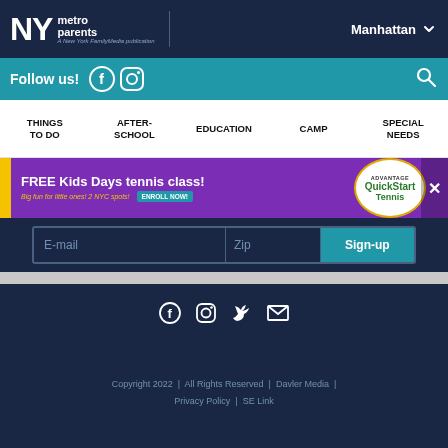NY metro parents | A New York FamilyMedia publication | Manhattan
Follow us!
THINGS TO DO | AFTER-SCHOOL | EDUCATION | CAMP | SPECIAL NEEDS
[Figure (infographic): Advertisement banner: FREE Kids Days tennis class! Big fun for little ones! 2 NYC spots! ENROLL NOW! Advantage QuickStart Tennis logo]
E-mail | Zip | Sign-up
[Figure (infographic): Social media icons: Facebook, Instagram, Twitter, Email in white on dark navy background]
Copyright 2022 | All Rights Reserved | Davler Media | Privacy Policy | SE Link